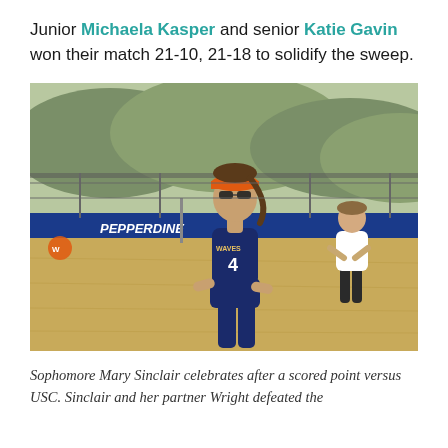Junior Michaela Kasper and senior Katie Gavin won their match 21-10, 21-18 to solidify the sweep.
[Figure (photo): A beach volleyball player wearing jersey number 4 with an orange visor and sunglasses celebrates on the sand court. In the background, another player in white stands by the net. A blue Pepperdine banner is visible along the court boundary, with rocky hills in the background.]
Sophomore Mary Sinclair celebrates after a scored point versus USC. Sinclair and her partner Wright defeated the